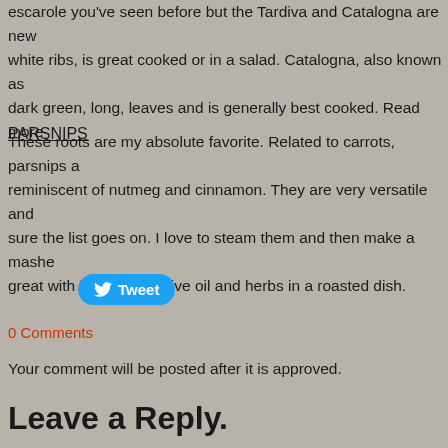escarole you've seen before but the Tardiva and Catalogna are new white ribs, is great cooked or in a salad.  Catalogna, also known as dark green, long, leaves and is generally best cooked.   Read more
PARSNIPS
These roots are my absolute favorite.  Related to carrots, parsnips a reminiscent of nutmeg and cinnamon.  They are very versatile and sure the list goes on.  I love to steam them and then make a mashe great with just a bit of olive oil and herbs in a roasted dish.
[Figure (other): Tweet button with Twitter bird logo]
0 Comments
Your comment will be posted after it is approved.
Leave a Reply.